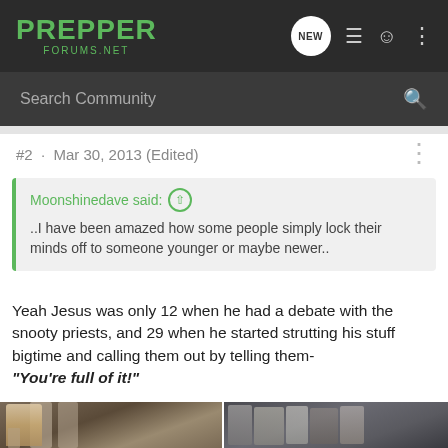PREPPER FORUMS.NET
Search Community
#2 · Mar 30, 2013 (Edited)
Moonshinedave said: ↑
..I have been amazed how some people simply lock their minds off to someone younger or maybe newer..
Yeah Jesus was only 12 when he had a debate with the snooty priests, and 29 when he started strutting his stuff bigtime and calling them out by telling them-
"You're full of it!"
[Figure (photo): Two side-by-side photos: left shows a person in white robes pointing, with pillars in background; right shows a group of people in dark robes and head coverings]